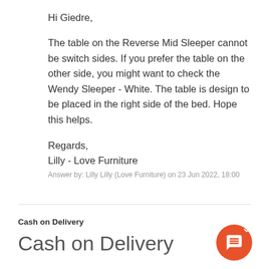Hi Giedre,
The table on the Reverse Mid Sleeper cannot be switch sides. If you prefer the table on the other side, you might want to check the Wendy Sleeper - White. The table is design to be placed in the right side of the bed. Hope this helps.
Regards,
Lilly - Love Furniture
Answer by: Lilly Lilly (Love Furniture) on 23 Jun 2022, 18:00
Cash on Delivery
Cash on Delivery